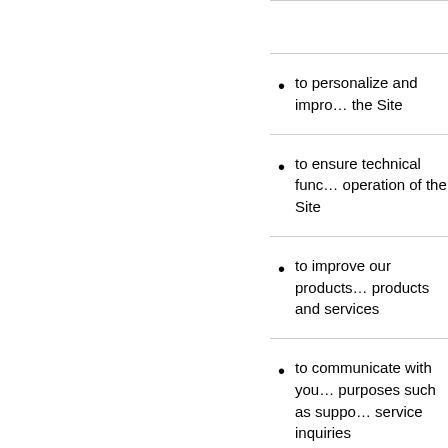to personalize and improve the Site
to ensure technical functioning and operation of the Site
to improve our products and services
to communicate with you for purposes such as support and service inquiries
to communicate with you upon request or for marketing